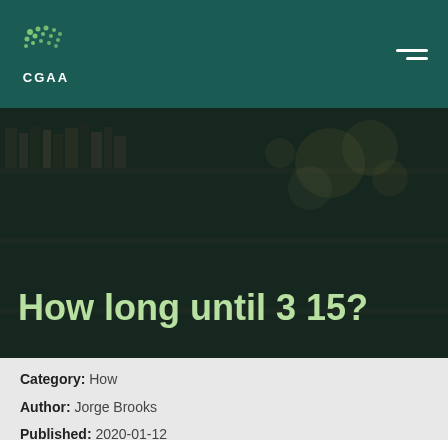CGAA
[Figure (photo): Library bookshelves with warm bokeh lights in the background, dark overlay tint]
How long until 3 15?
Category: How
Author: Jorge Brooks
Published: 2020-01-12
Views: 301